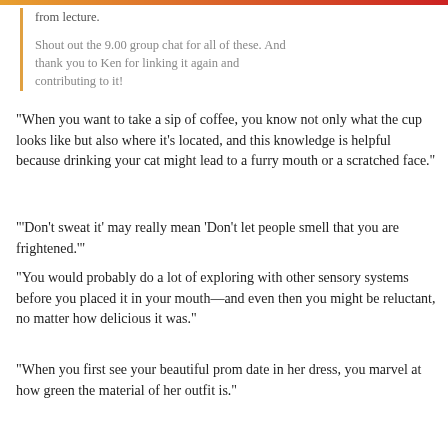from lecture.
Shout out the 9.00 group chat for all of these. And thank you to Ken for linking it again and contributing to it!
“When you want to take a sip of coffee, you know not only what the cup looks like but also where it’s located, and this knowledge is helpful because drinking your cat might lead to a furry mouth or a scratched face.”
“‘Don’t sweat it’ may really mean ‘Don’t let people smell that you are frightened.’”
“You would probably do a lot of exploring with other sensory systems before you placed it in your mouth—and even then you might be reluctant, no matter how delicious it was.”
“When you first see your beautiful prom date in her dress, you marvel at how green the material of her outfit is.”